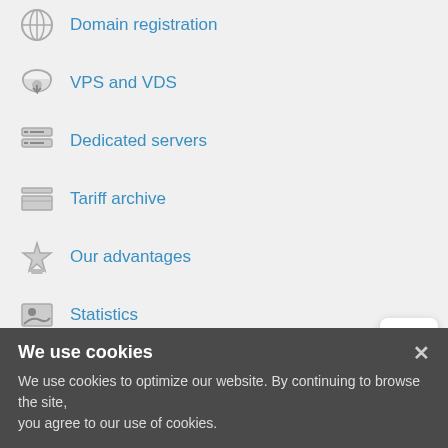Domain registration
VPS and VDS
Dedicated servers
Tariff archive
Our advantages
Statistics
Company
Registration
News
Referral program
We use cookies
We use cookies to optimize our website. By continuing to browse the site, you agree to our use of cookies.